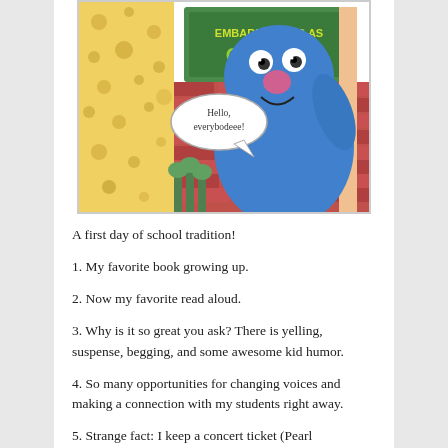[Figure (illustration): Book cover illustration of Grover from Sesame Street. Blue furry monster character with a pink nose, standing next to a sign that reads 'GROVER'. A speech bubble says 'Hello, everybodeee!' Background shows a brick wall with decorative floral wallpaper pattern.]
A first day of school tradition!
1. My favorite book growing up.
2. Now my favorite read aloud.
3. Why is it so great you ask? There is yelling, suspense, begging, and some awesome kid humor.
4. So many opportunities for changing voices and making a connection with my students right away.
5. Strange fact: I keep a concert ticket (Pearl Jam/Rolling